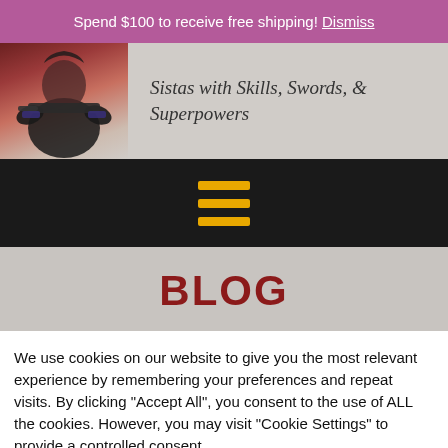Spend $100 to receive free shipping! Dismiss
[Figure (illustration): Website header with a warrior woman holding a weapon on the left, and the site title 'Sistas with Skills, Swords, & Superpowers' on the right against a grey background]
[Figure (infographic): Black navigation bar with a hamburger menu icon (three horizontal yellow/gold lines)]
BLOG
We use cookies on our website to give you the most relevant experience by remembering your preferences and repeat visits. By clicking "Accept All", you consent to the use of ALL the cookies. However, you may visit "Cookie Settings" to provide a controlled consent.
E-mail Address